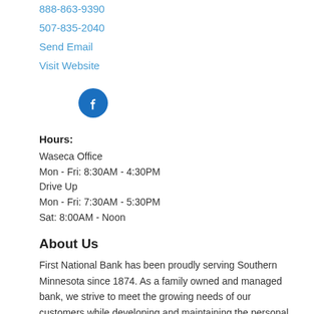888-863-9390
507-835-2040
Send Email
Visit Website
[Figure (illustration): Blue circular Facebook icon button with white 'f' logo]
Hours:
Waseca Office
Mon - Fri: 8:30AM - 4:30PM
Drive Up
Mon - Fri: 7:30AM - 5:30PM
Sat: 8:00AM - Noon
About Us
First National Bank has been proudly serving Southern Minnesota since 1874. As a family owned and managed bank, we strive to meet the growing needs of our customers while developing and maintaining the personal aspects of service that are synonymous with community banking.
First National Bank has three locations, one branch in Waseca, Minnesota, a branch in Hope, Minnesota, and a branch in Ellendale, Minnesota. The strength of our success lies with the friendly, professional employees who